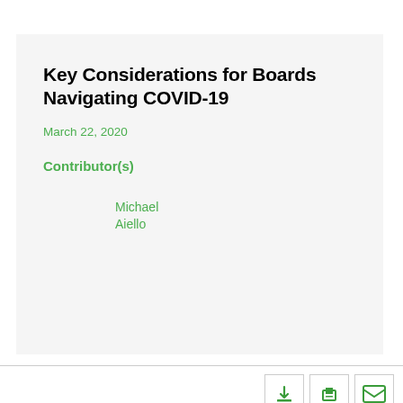Key Considerations for Boards Navigating COVID-19
March 22, 2020
Contributor(s)
Michael Aiello